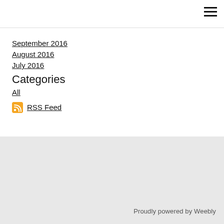☰
September 2016
August 2016
July 2016
Categories
All
RSS Feed
Proudly powered by Weebly